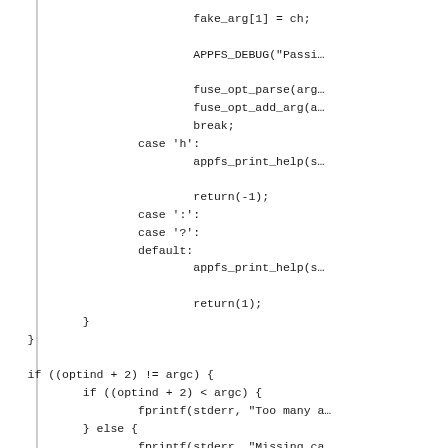Code snippet showing C switch/case and if-else logic for argument parsing using fuse_opt_parse, appfs_print_help, fprintf, and return statements.